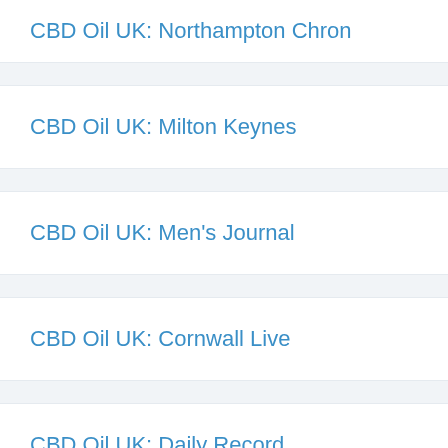CBD Oil UK: Northampton Chron
CBD Oil UK: Milton Keynes
CBD Oil UK: Men's Journal
CBD Oil UK: Cornwall Live
CBD Oil UK: Daily Record